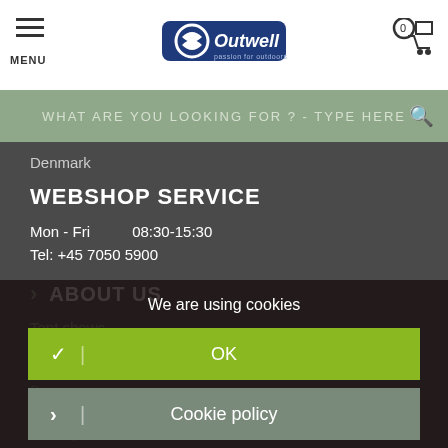MENU | Outwell logo | Cart (0)
WHAT ARE YOU LOOKING FOR ? - TYPE HERE
Denmark
WEBSHOP SERVICE
Mon - Fri    08:30-15:30
Tel: +45 7050 5900
> ABOUT US
Tent shows
Camp Magazines
Awards
Press
Terms
Privacy
We are using cookies
✓ | OK
> | Cookie policy